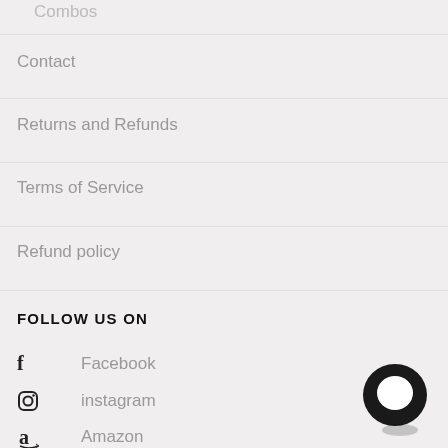Combos
Contact
Returns and Refunds
Terms of Service
Refund policy
FOLLOW US ON
Facebook
instagram
Amazon
[Figure (illustration): Chat bubble icon in bottom right corner]